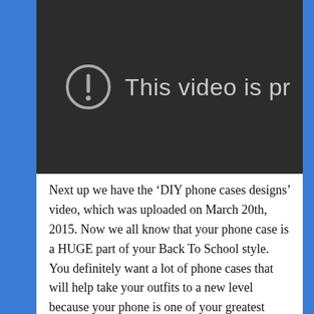[Figure (screenshot): YouTube-style video player showing an error state with a circle-exclamation icon and partial text 'This video is pr' (private), dark background]
Next up we have the ‘DIY phone cases designs’ video, which was uploaded on March 20th, 2015. Now we all know that your phone case is a HUGE part of your Back To School style. You definitely want a lot of phone cases that will help take your outfits to a new level because your phone is one of your greatest accessories. This video will show you